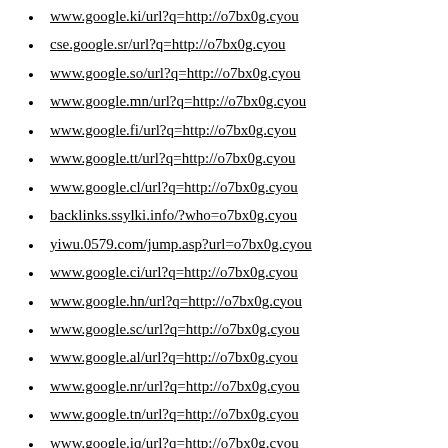www.google.ki/url?q=http://o7bx0g.cyou
cse.google.sr/url?q=http://o7bx0g.cyou
www.google.so/url?q=http://o7bx0g.cyou
www.google.mn/url?q=http://o7bx0g.cyou
www.google.fi/url?q=http://o7bx0g.cyou
www.google.tt/url?q=http://o7bx0g.cyou
www.google.cl/url?q=http://o7bx0g.cyou
backlinks.ssylki.info/?who=o7bx0g.cyou
yiwu.0579.com/jump.asp?url=o7bx0g.cyou
www.google.ci/url?q=http://o7bx0g.cyou
www.google.hn/url?q=http://o7bx0g.cyou
www.google.sc/url?q=http://o7bx0g.cyou
www.google.al/url?q=http://o7bx0g.cyou
www.google.nr/url?q=http://o7bx0g.cyou
www.google.tn/url?q=http://o7bx0g.cyou
www.google.iq/url?q=http://o7bx0g.cyou
www.semanticjuice.com/site/o7bx0g.cyou
www.google.sr/url?q=http://o7bx0g.cyou
www.google.bi/url?q=http://o7bx0g.cyou